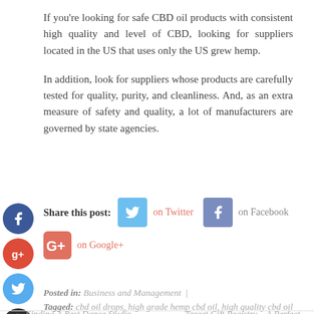If you're looking for safe CBD oil products with consistent high quality and level of CBD, looking for suppliers located in the US that uses only the US grew hemp.
In addition, look for suppliers whose products are carefully tested for quality, purity, and cleanliness. And, as an extra measure of safety and quality, a lot of manufacturers are governed by state agencies.
Share this post: on Twitter on Facebook on Google+
Posted in: Business and Management
Tagged: cbd oil drops, high grade hemp cbd oil, high quality cbd oil
← Finding A Best Dance Studio    Target Gift Registry – A Perfect